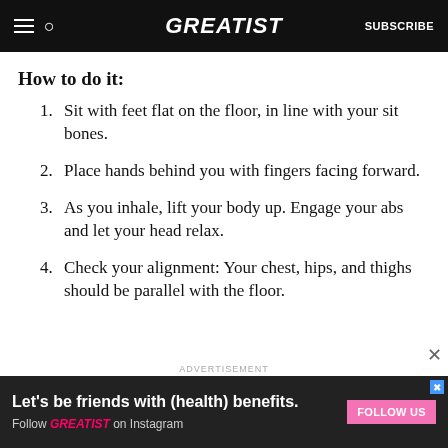GREATIST | SUBSCRIBE
How to do it:
Sit with feet flat on the floor, in line with your sit bones.
Place hands behind you with fingers facing forward.
As you inhale, lift your body up. Engage your abs and let your head relax.
Check your alignment: Your chest, hips, and thighs should be parallel with the floor.
ADVERTISEMENT
Let's be friends with (health) benefits. Follow GREATIST on Instagram | FOLLOW US